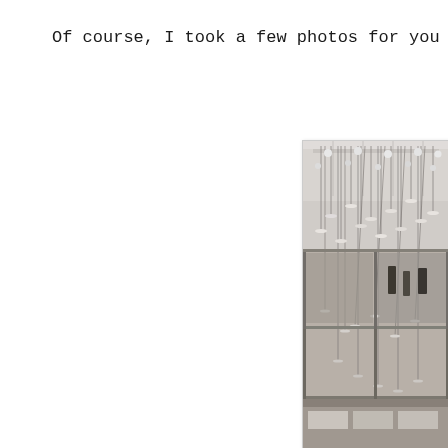Of course, I took a few photos for you to t
[Figure (photo): Interior photo of a large modern building atrium or lobby with hanging pendant lights on thin cables from the ceiling, multiple levels visible with glass balconies, people visible in background.]